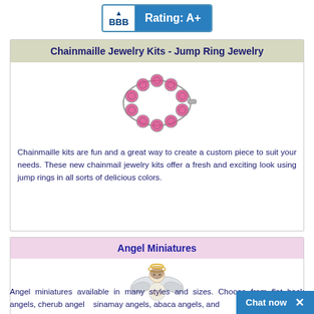[Figure (logo): BBB Better Business Bureau badge with Rating: A+]
Chainmaille Jewelry Kits - Jump Ring Jewelry
[Figure (photo): Pink and silver chainmaille bracelet made with jump rings]
Chainmaille kits are fun and a great way to create a custom piece to suit your needs. These new chainmail jewelry kits offer a fresh and exciting look using jump rings in all sorts of delicious colors.
Angel Miniatures
[Figure (photo): Small angel miniature figurine with wings, cherub style]
Angel miniatures available in many styles and sizes. Choose from flat back angels, cherub angels, sinamay angels, abaca angels, and...